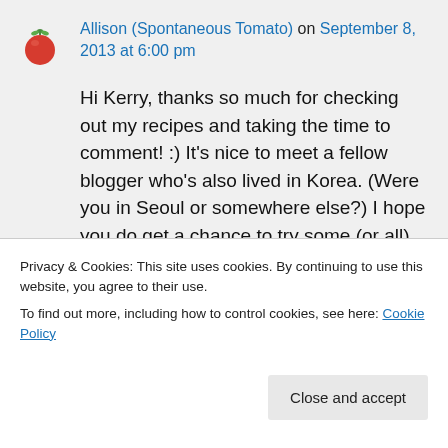Allison (Spontaneous Tomato) on September 8, 2013 at 6:00 pm
Hi Kerry, thanks so much for checking out my recipes and taking the time to comment! :) It's nice to meet a fellow blogger who's also lived in Korea. (Were you in Seoul or somewhere else?) I hope you do get a chance to try some (or all) of my recipes. :) Looking forward to seeing some Korean-
Privacy & Cookies: This site uses cookies. By continuing to use this website, you agree to their use.
To find out more, including how to control cookies, see here: Cookie Policy